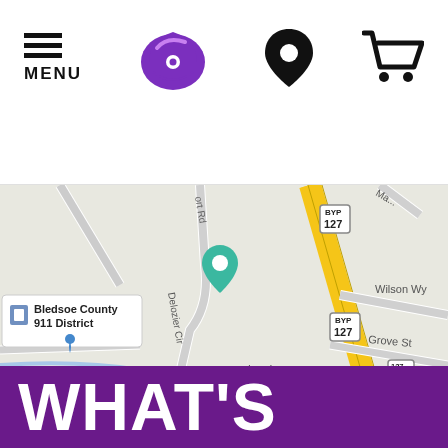[Figure (screenshot): Taco Bell website header with hamburger menu icon labeled MENU, Taco Bell logo (purple bell icon), location pin icon, and shopping cart icon]
[Figure (map): Google Maps screenshot showing area near Bledsoe County 911 District with roads including Delozier Cir, Grove St, Lee Ln, Wilson Wy, and highway 127 BYP. A teal map pin marks the Taco Bell location. Map data 2022 Google.]
WHAT'S